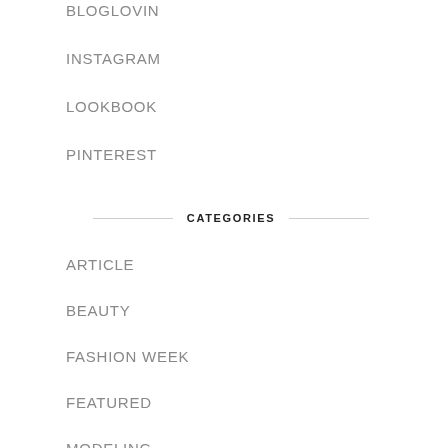BLOGLOVIN
INSTAGRAM
LOOKBOOK
PINTEREST
CATEGORIES
ARTICLE
BEAUTY
FASHION WEEK
FEATURED
MODELING
OUTFIT
SPONSOR